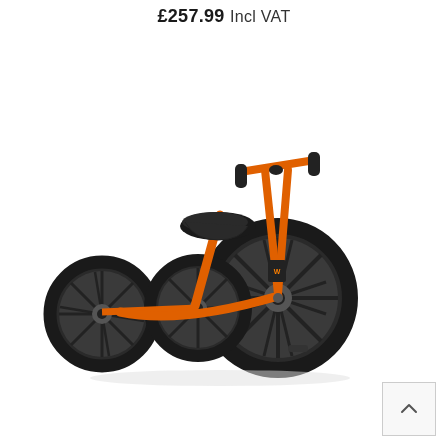£257.99 Incl VAT
[Figure (photo): Orange children's tricycle with black rubber wheels, black seat, and black handlebar grips. The tricycle has an orange metal frame with two small rear wheels and one large front wheel. Viewed from a slight angle showing both sides.]